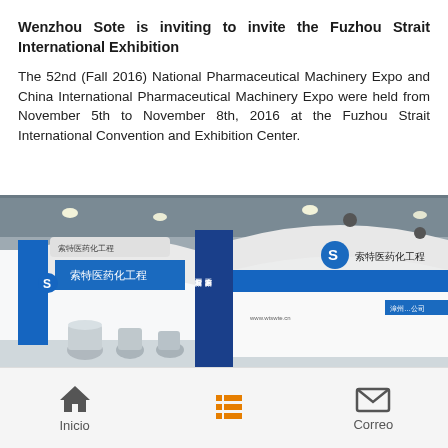Wenzhou Sote is inviting to invite the Fuzhou Strait International Exhibition
The 52nd (Fall 2016) National Pharmaceutical Machinery Expo and China International Pharmaceutical Machinery Expo were held from November 5th to November 8th, 2016 at the Fuzhou Strait International Convention and Exhibition Center.
[Figure (photo): Photo of a trade show exhibition booth for Wenzhou Sote pharmaceutical chemical engineering company, with blue and white signage with Chinese characters, large curved white arch structures, pharmaceutical equipment displayed on the floor, and various company banners.]
Inicio   [menu icon]   Correo